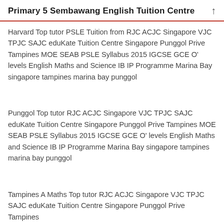Primary 5 Sembawang English Tuition Centre
Harvard Top tutor PSLE Tuition from RJC ACJC Singapore VJC TPJC SAJC eduKate Tuition Centre Singapore Punggol Prive Tampines MOE SEAB PSLE Syllabus 2015 IGCSE GCE O' levels English Maths and Science IB IP Programme Marina Bay singapore tampines marina bay punggol
Punggol Top tutor RJC ACJC Singapore VJC TPJC SAJC eduKate Tuition Centre Singapore Punggol Prive Tampines MOE SEAB PSLE Syllabus 2015 IGCSE GCE O' levels English Maths and Science IB IP Programme Marina Bay singapore tampines marina bay punggol
Tampines A Maths Top tutor RJC ACJC Singapore VJC TPJC SAJC eduKate Tuition Centre Singapore Punggol Prive Tampines